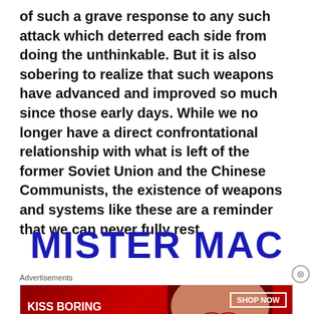of such a grave response to any such attack which deterred each side from doing the unthinkable. But it is also sobering to realize that such weapons have advanced and improved so much since those early days. While we no longer have a direct confrontational relationship with what is left of the former Soviet Union and the Chinese Communists, the existence of weapons and systems like these are a reminder that we can never fully rest.
MISTER MAC
[Figure (other): Advertisement banner for Macy's lipstick: 'KISS BORING LIPS GOODBYE' with a photo of lips and a 'SHOP NOW' button with the Macy's star logo]